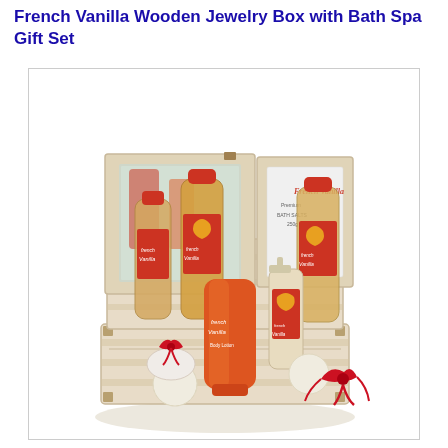French Vanilla Wooden Jewelry Box with Bath Spa Gift Set
[Figure (photo): A French Vanilla themed wooden jewelry box open to reveal multiple bath spa products including bottles, a body lotion tube, a spray bottle, and bath bombs, all branded French Vanilla with red and orange packaging. The wooden box has red satin ribbon bows decorating it.]